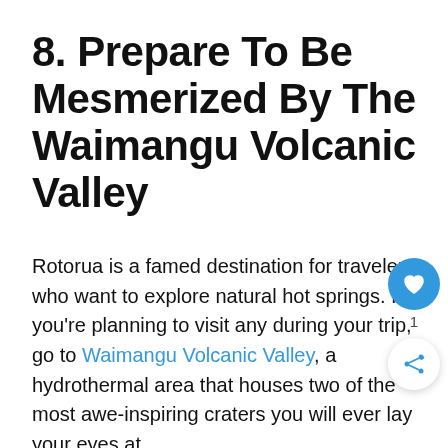8. Prepare To Be Mesmerized By The Waimangu Volcanic Valley
Rotorua is a famed destination for travelers who want to explore natural hot springs. If you're planning to visit any during your trip, go to Waimangu Volcanic Valley, a hydrothermal area that houses two of the most awe-inspiring craters you will ever lay your eyes at.
These two are Frying Pan Lake Crater and Inferno Crater, the largest hot spring and the largest geyser-like